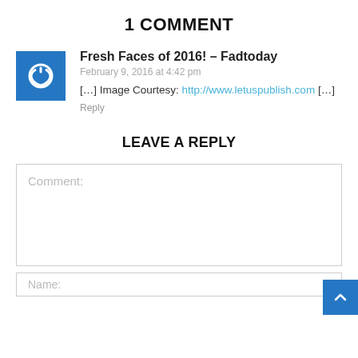1 COMMENT
Fresh Faces of 2016! – Fadtoday
February 9, 2016 at 4:42 pm
[…] Image Courtesy: http://www.letuspublish.com […]
Reply
LEAVE A REPLY
Comment:
Name: